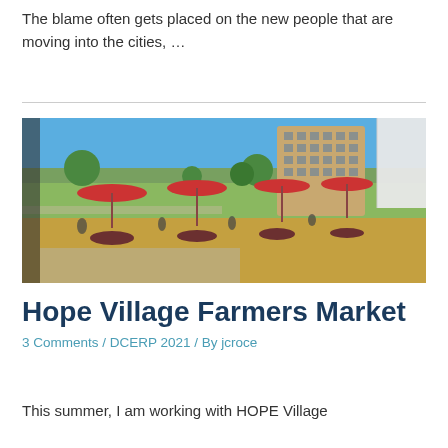The blame often gets placed on the new people that are moving into the cities, …
[Figure (photo): Outdoor farmers market scene with red patio umbrellas, picnic tables, a white tent on the right, green grass, and a large multi-story brick building in the background under a blue sky.]
Hope Village Farmers Market
3 Comments / DCERP 2021 / By jcroce
This summer, I am working with HOPE Village